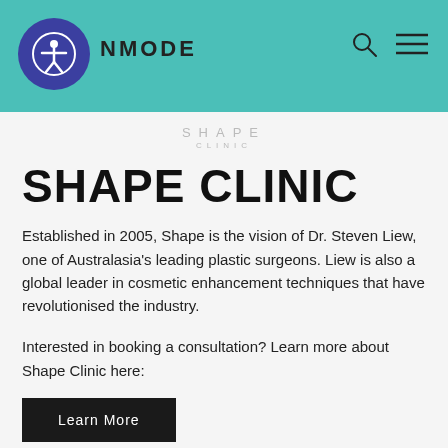INMODE
[Figure (logo): Shape Clinic logo with stylized text and CLINIC label]
SHAPE CLINIC
Established in 2005, Shape is the vision of Dr. Steven Liew, one of Australasia's leading plastic surgeons. Liew is also a global leader in cosmetic enhancement techniques that have revolutionised the industry.
Interested in booking a consultation? Learn more about Shape Clinic here:
Learn More